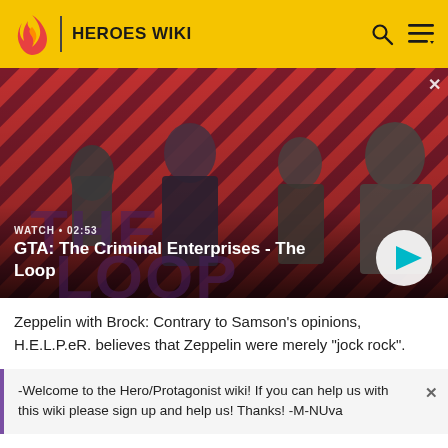HEROES WIKI
[Figure (screenshot): GTA: The Criminal Enterprises - The Loop video thumbnail showing four characters on a diagonal striped red and dark background. Text overlay reads WATCH • 02:53 and GTA: The Criminal Enterprises - The Loop with a play button.]
Zeppelin with Brock: Contrary to Samson's opinions, H.E.L.P.eR. believes that Zeppelin were merely "jock rock".
-Welcome to the Hero/Protagonist wiki! If you can help us with this wiki please sign up and help us! Thanks! -M-NUva